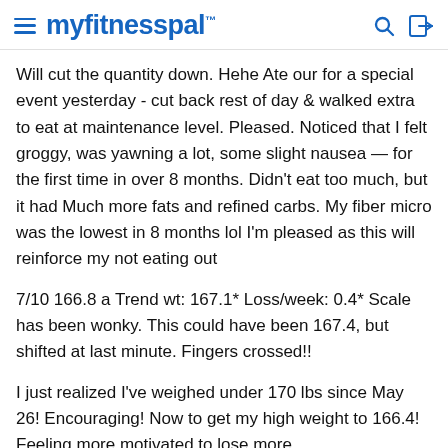myfitnesspal
Will cut the quantity down. Hehe Ate our for a special event yesterday - cut back rest of day & walked extra to eat at maintenance level. Pleased. Noticed that I felt groggy, was yawning a lot, some slight nausea — for the first time in over 8 months. Didn't eat too much, but it had Much more fats and refined carbs. My fiber micro was the lowest in 8 months lol I'm pleased as this will reinforce my not eating out
7/10 166.8 a Trend wt: 167.1* Loss/week: 0.4* Scale has been wonky. This could have been 167.4, but shifted at last minute. Fingers crossed!!
I just realized I've weighed under 170 lbs since May 26! Encouraging! Now to get my high weight to 166.4! Feeling more motivated to lose more.